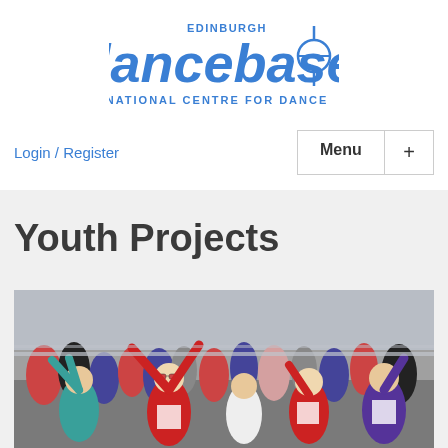[Figure (logo): Edinburgh Dancebase National Centre for Dance logo in blue]
Login / Register
Menu +
Youth Projects
[Figure (photo): Children dancing outdoors with arms raised, wearing red and purple t-shirts with 'Scotland Dancing' printed on them, large crowd in background]